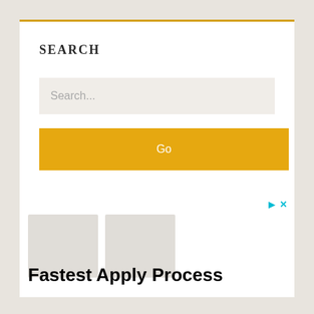SEARCH
Search...
Go
[Figure (screenshot): Advertisement panel with two image placeholders and text 'Fastest Apply Process']
Fastest Apply Process